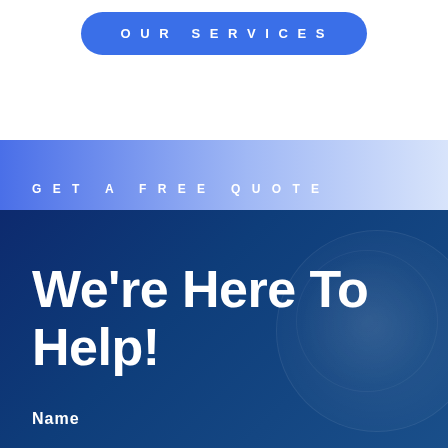OUR SERVICES
GET A FREE QUOTE
We're Here To Help!
Name